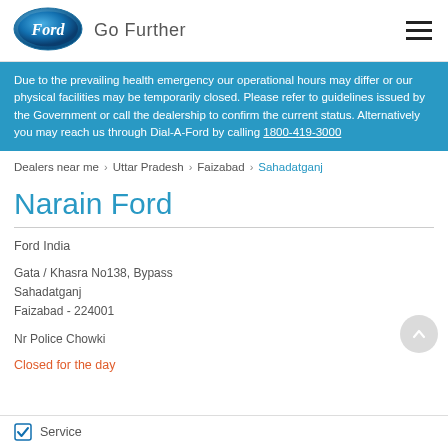[Figure (logo): Ford oval blue logo with 'Go Further' text and hamburger menu icon]
Due to the prevailing health emergency our operational hours may differ or our physical facilities may be temporarily closed. Please refer to guidelines issued by the Government or call the dealership to confirm the current status. Alternatively you may reach us through Dial-A-Ford by calling 1800-419-3000
Dealers near me > Uttar Pradesh > Faizabad > Sahadatganj
Narain Ford
Ford India
Gata / Khasra No138, Bypass
Sahadatganj
Faizabad - 224001
Nr Police Chowki
Closed for the day
Service